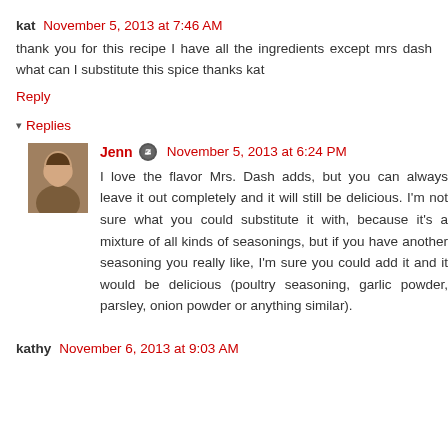kat  November 5, 2013 at 7:46 AM
thank you for this recipe I have all the ingredients except mrs dash what can I substitute this spice thanks kat
Reply
Replies
Jenn  November 5, 2013 at 6:24 PM
I love the flavor Mrs. Dash adds, but you can always leave it out completely and it will still be delicious. I'm not sure what you could substitute it with, because it's a mixture of all kinds of seasonings, but if you have another seasoning you really like, I'm sure you could add it and it would be delicious (poultry seasoning, garlic powder, parsley, onion powder or anything similar).
kathy  November 6, 2013 at 9:03 AM